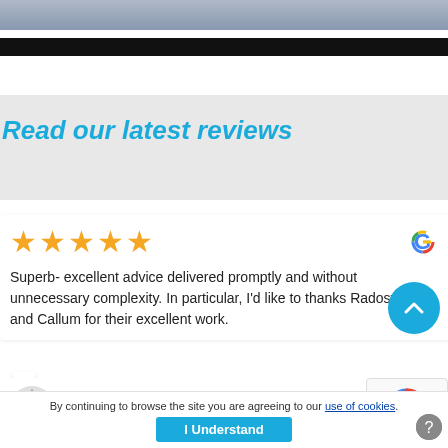[Figure (photo): Partial view of a person in a suit, cropped at top of page]
Read our latest reviews
Superb- excellent advice delivered promptly and without unnecessary complexity. In particular, I'd like to thanks Radosveta and Callum for their excellent work.
John Ditchfield
By continuing to browse the site you are agreeing to our use of cookies.
I Understand